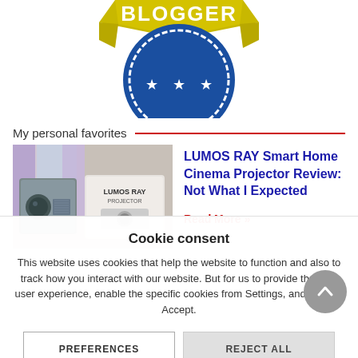[Figure (logo): Blogger badge/seal with blue circle, gold ribbon banner with text BLOGGER, and three white stars]
My personal favorites
[Figure (photo): Photo of LUMOS RAY projector device on a surface]
LUMOS RAY Smart Home Cinema Projector Review: Not What I Expected
Read More »
Cookie consent
This website uses cookies that help the website to function and also to track how you interact with our website. But for us to provide the best user experience, enable the specific cookies from Settings, and click on Accept.
PREFERENCES
REJECT ALL
ACCEPT ALL